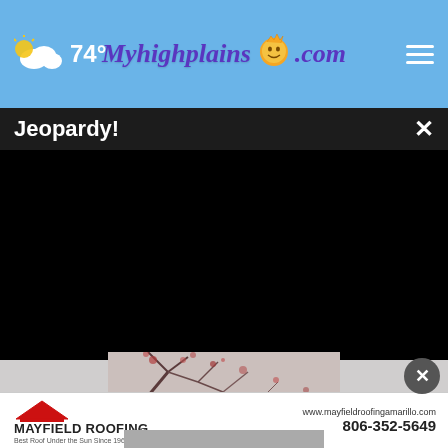74° Myhighplains.com
Jeopardy!
[Figure (screenshot): Black video player area for Jeopardy! content on Myhighplains.com]
[Figure (photo): Partial tree branches with reddish foliage against light background]
[Figure (logo): Mayfield Roofing Inc. advertisement banner with logo, website www.mayfieldroofingamarillo.com and phone 806-352-5649, tagline Best Roof Under the Sun Since 1961]